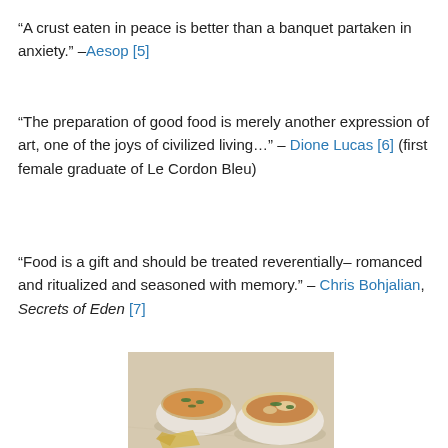“A crust eaten in peace is better than a banquet partaken in anxiety.” –Aesop [5]
“The preparation of good food is merely another expression of art, one of the joys of civilized living…” – Dione Lucas [6] (first female graduate of Le Cordon Bleu)
“Food is a gift and should be treated reverentially– romanced and ritualized and seasoned with memory.” – Chris Bohjalian, Secrets of Eden [7]
[Figure (photo): Two white bowls filled with a curry-style dish over rice with green herbs, and a piece of flatbread/chip in the foreground, on a light surface.]